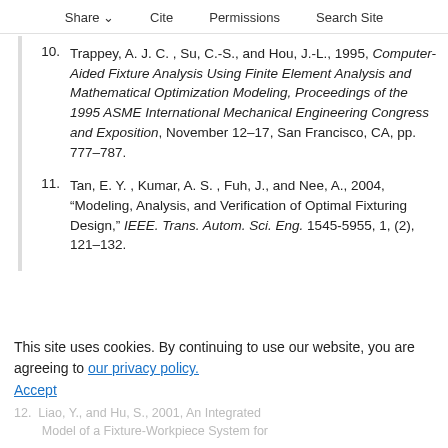Share  Cite  Permissions  Search Site
10. Trappey, A. J. C. , Su, C.-S., and Hou, J.-L., 1995, Computer-Aided Fixture Analysis Using Finite Element Analysis and Mathematical Optimization Modeling, Proceedings of the 1995 ASME International Mechanical Engineering Congress and Exposition, November 12–17, San Francisco, CA, pp. 777–787.
11. Tan, E. Y. , Kumar, A. S. , Fuh, J., and Nee, A., 2004, "Modeling, Analysis, and Verification of Optimal Fixturing Design," IEEE. Trans. Autom. Sci. Eng. 1545-5955, 1, (2), 121–132.
This site uses cookies. By continuing to use our website, you are agreeing to our privacy policy.
Accept
12. Liao, Y., and Hu, S., 2001, An Integrated Model of a Fixture-Workpiece System for